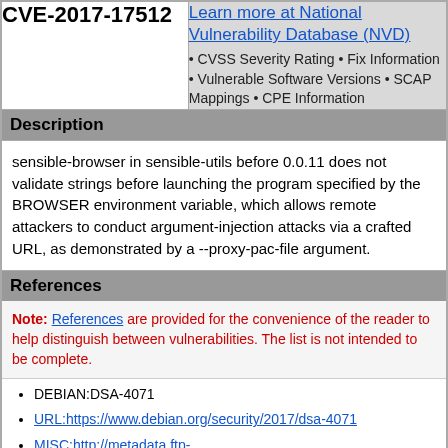| CVE-2017-17512 | Learn more at National Vulnerability Database (NVD) |
| --- | --- |
|  | • CVSS Severity Rating • Fix Information • Vulnerable Software Versions • SCAP Mappings • CPE Information |
Description
sensible-browser in sensible-utils before 0.0.11 does not validate strings before launching the program specified by the BROWSER environment variable, which allows remote attackers to conduct argument-injection attacks via a crafted URL, as demonstrated by a --proxy-pac-file argument.
References
Note: References are provided for the convenience of the reader to help distinguish between vulnerabilities. The list is not intended to be complete.
DEBIAN:DSA-4071
URL:https://www.debian.org/security/2017/dsa-4071
MISC:http://metadata.ftp-master.debian.org/changelogs/main/s/sensible-utils/sensible-utils_0.0.11_changelog
MISC:https://bugs.debian.org/881767